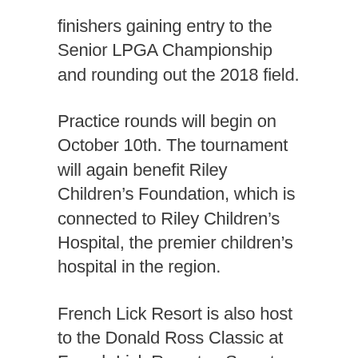finishers gaining entry to the Senior LPGA Championship and rounding out the 2018 field.
Practice rounds will begin on October 10th. The tournament will again benefit Riley Children’s Foundation, which is connected to Riley Children’s Hospital, the premier children’s hospital in the region.
French Lick Resort is also host to the Donald Ross Classic at French Lick Resort, a Symetra Tour tournament held on The Donald Ross Course. Stephanie